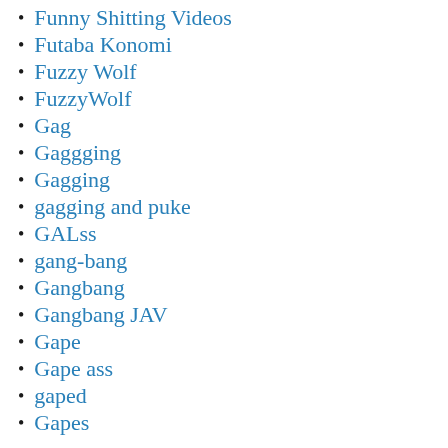Funny Shitting Videos
Futaba Konomi
Fuzzy Wolf
FuzzyWolf
Gag
Gaggging
Gagging
gagging and puke
GALss
gang-bang
Gangbang
Gangbang JAV
Gape
Gape ass
gaped
Gapes